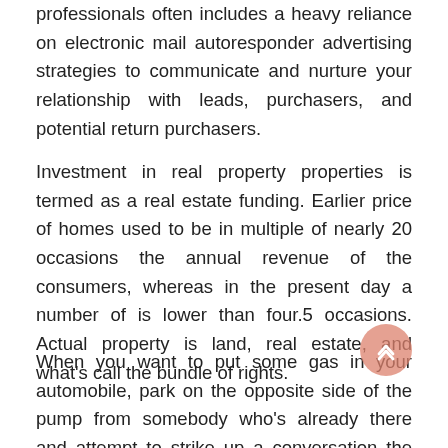professionals often includes a heavy reliance on electronic mail autoresponder advertising strategies to communicate and nurture your relationship with leads, purchasers, and potential return purchasers.
Investment in real property properties is termed as a real estate funding. Earlier price of homes used to be in multiple of nearly 20 occasions the annual revenue of the consumers, whereas in the present day a number of is lower than four.5 occasions. Actual property is land, real estate, and what's call the bundle of rights.
When you want to put some gas in your automobile, park on the opposite side of the pump from somebody who's already there and attempt to strike up a conversation the place you'll be able to tell them that you just're in the true